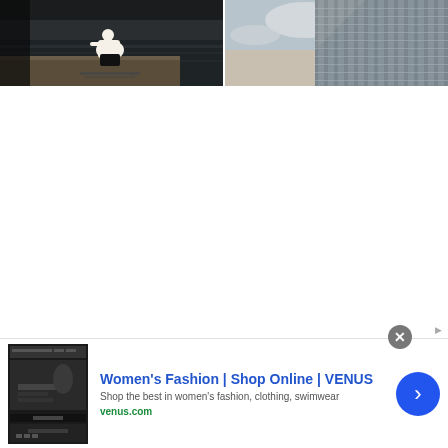[Figure (photo): Left photo: Person in white clothing crouching/sitting by a dark waterfront dock, viewed from behind. Dark moody atmosphere.]
[Figure (photo): Right photo: Upward angle view of a tall glass skyscraper with grid-like facade against a cloudy sky.]
[Figure (screenshot): Advertisement banner: Women's Fashion | Shop Online | VENUS. Shows thumbnail of website, description 'Shop the best in women's fashion, clothing, swimwear', URL venus.com, blue arrow CTA button, close X button.]